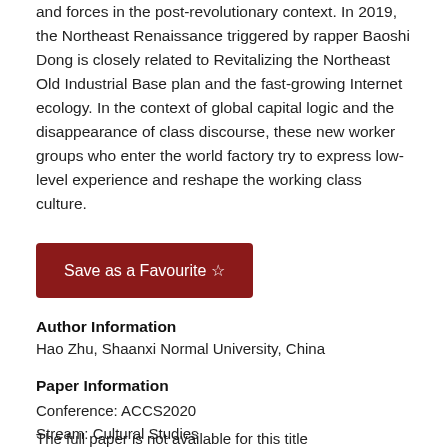and forces in the post-revolutionary context. In 2019, the Northeast Renaissance triggered by rapper Baoshi Dong is closely related to Revitalizing the Northeast Old Industrial Base plan and the fast-growing Internet ecology. In the context of global capital logic and the disappearance of class discourse, these new worker groups who enter the world factory try to express low-level experience and reshape the working class culture.
Save as a Favourite ☆
Author Information
Hao Zhu, Shaanxi Normal University, China
Paper Information
Conference: ACCS2020
Stream: Cultural Studies
The full paper is not available for this title